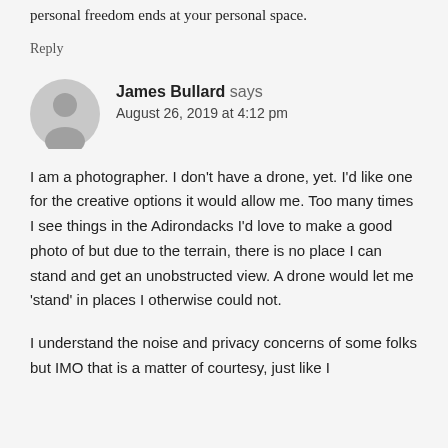personal freedom ends at your personal space.
Reply
[Figure (illustration): Gray circular avatar icon with silhouette of a person, typical for anonymous user comment profiles.]
James Bullard says
August 26, 2019 at 4:12 pm
I am a photographer. I don’t have a drone, yet. I’d like one for the creative options it would allow me. Too many times I see things in the Adirondacks I’d love to make a good photo of but due to the terrain, there is no place I can stand and get an unobstructed view. A drone would let me ‘stand’ in places I otherwise could not.
I understand the noise and privacy concerns of some folks but IMO that is a matter of courtesy, just like I